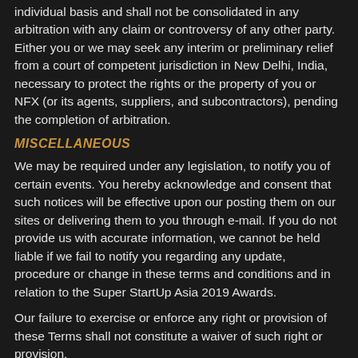individual basis and shall not be consolidated in any arbitration with any claim or controversy of any other party. Either you or we may seek any interim or preliminary relief from a court of competent jurisdiction in New Delhi, India, necessary to protect the rights or the property of you or NFX (or its agents, suppliers, and subcontractors), pending the completion of arbitration.
MISCELLANEOUS
We may be required under any legislation, to notify you of certain events. You hereby acknowledge and consent that such notices will be effective upon our posting them on our sites or delivering them to you through e-mail. If you do not provide us with accurate information, we cannot be held liable if we fail to notify you regarding any update, procedure or change in these terms and conditions and in relation to the Super StartUp Asia 2019 Awards.
Our failure to exercise or enforce any right or provision of these Terms shall not constitute a waiver of such right or provision.
You agree that regardless of any statute or law to the contrary,